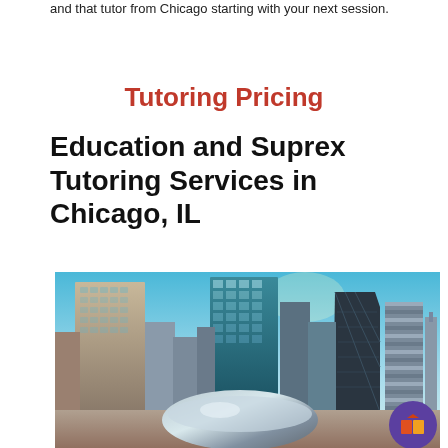and that tutor from Chicago starting with your next session.
Tutoring Pricing
Education and Suprex Tutoring Services in Chicago, IL
[Figure (photo): Chicago skyline photograph featuring the Cloud Gate (Bean) sculpture in Millennium Park with tall skyscrapers and blue sky in the background. A purple circular logo with an open book icon appears in the lower right corner.]